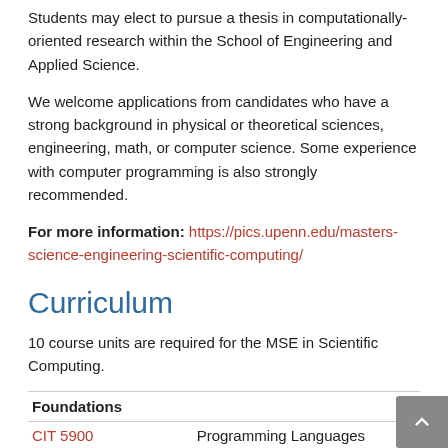Students may elect to pursue a thesis in computationally-oriented research within the School of Engineering and Applied Science.
We welcome applications from candidates who have a strong background in physical or theoretical sciences, engineering, math, or computer science. Some experience with computer programming is also strongly recommended.
For more information: https://pics.upenn.edu/masters-science-engineering-scientific-computing/
Curriculum
10 course units are required for the MSE in Scientific Computing.
| Foundations |  |  |
| --- | --- | --- |
| CIT 5900 | Programming Languages | 1 |